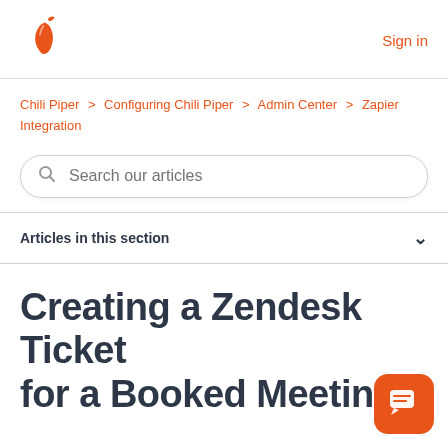Chili Piper logo | Sign in
Chili Piper > Configuring Chili Piper > Admin Center > Zapier Integration
Search our articles
Articles in this section
Creating a Zendesk Ticket for a Booked Meeting